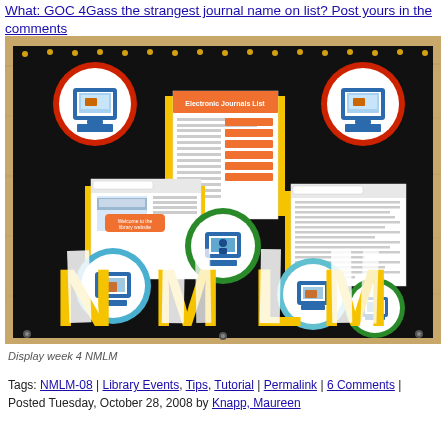What: GOC 4Gass the strangest journal name on list? Post yours in the comments
[Figure (photo): A bulletin board display with black background featuring large yellow letters NMLM, circular computer/technology icons, and printed pages/screenshots pinned to the board. The board sits on a wood-grain surface background.]
Display week 4 NMLM
Tags: NMLM-08 | Library Events, Tips, Tutorial | Permalink | 6 Comments | Posted Tuesday, October 28, 2008 by Knapp, Maureen